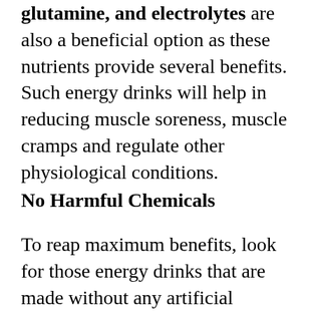glutamine, and electrolytes are also a beneficial option as these nutrients provide several benefits. Such energy drinks will help in reducing muscle soreness, muscle cramps and regulate other physiological conditions.
No Harmful Chemicals
To reap maximum benefits, look for those energy drinks that are made without any artificial flavours or colours. It is always